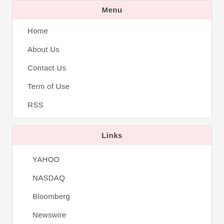Menu
Home
About Us
Contact Us
Term of Use
RSS
Links
YAHOO
NASDAQ
Bloomberg
Newswire